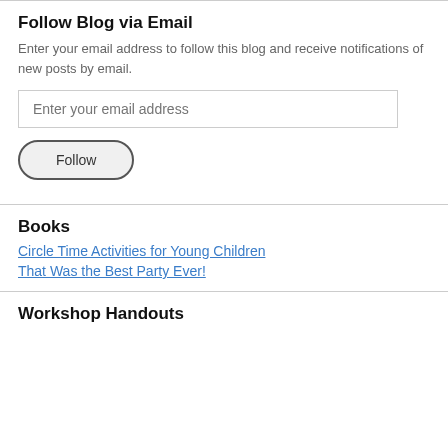Follow Blog via Email
Enter your email address to follow this blog and receive notifications of new posts by email.
Enter your email address
Follow
Books
Circle Time Activities for Young Children
That Was the Best Party Ever!
Workshop Handouts